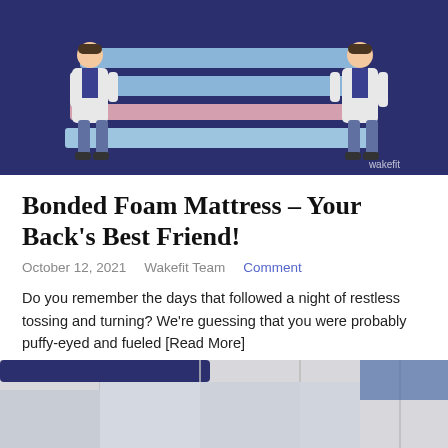[Figure (illustration): Dark navy blue background illustration showing two people in white lab coats (doctors/scientists) standing on either side of horizontal colored bars/layers (representing mattress layers) in light blue, pink, and light blue shades. 'wakefit' logo appears in bottom right corner.]
Bonded Foam Mattress – Your Back's Best Friend!
October 12, 2021    Wakefit Team    Comment
Do you remember the days that followed a night of restless tossing and turning? We're guessing that you were probably puffy-eyed and fueled [Read More]
[Figure (photo): Bottom portion of a mattress or product image, showing layered foam structure with light grey and white tones, with a dark navy blue panel visible at top left corner.]